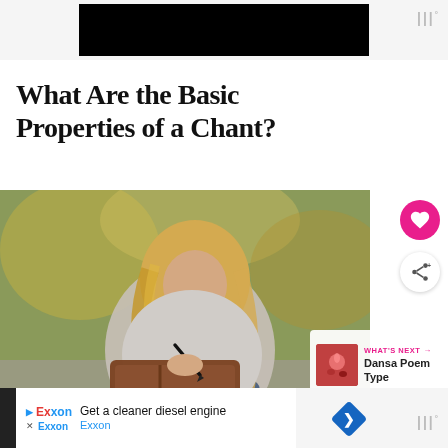[Figure (screenshot): Black banner/advertisement at top of webpage]
What Are the Basic Properties of a Chant?
[Figure (photo): Woman with blonde hair writing in a journal/notebook, sitting outdoors]
WHAT'S NEXT → Dansa Poem Type
[Figure (screenshot): Exxon advertisement at bottom: Get a cleaner diesel engine, Exxon]